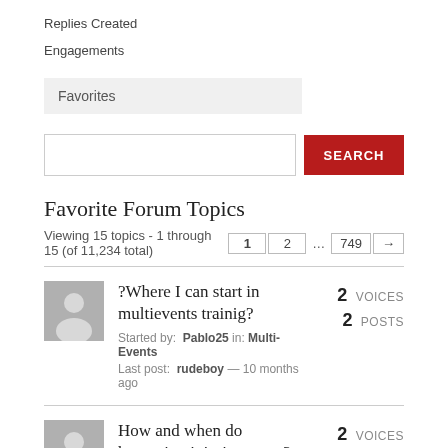Replies Created
Engagements
Favorites
SEARCH
Favorite Forum Topics
Viewing 15 topics - 1 through 15 (of 11,234 total)  1  2  ...  749  →
?Where I can start in multievents trainig?
Started by: Pablo25 in: Multi-Events
Last post: rudeboy — 10 months ago
2 VOICES  2 POSTS
How and when do hamstring injuries occur?
2 VOICES